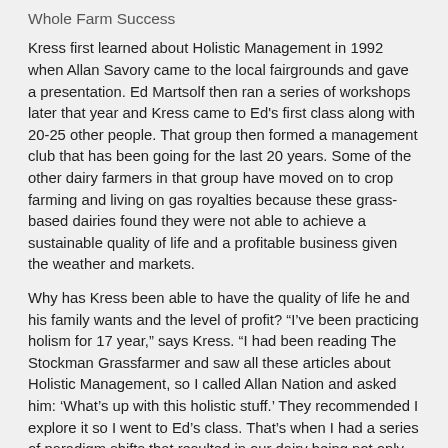Whole Farm Success
Kress first learned about Holistic Management in 1992 when Allan Savory came to the local fairgrounds and gave a presentation. Ed Martsolf then ran a series of workshops later that year and Kress came to Ed's first class along with 20-25 other people. That group then formed a management club that has been going for the last 20 years. Some of the other dairy farmers in that group have moved on to crop farming and living on gas royalties because these grass-based dairies found they were not able to achieve a sustainable quality of life and a profitable business given the weather and markets.
Why has Kress been able to have the quality of life he and his family wants and the level of profit? “I’ve been practicing holism for 17 year,” says Kress. “I had been reading The Stockman Grassfarmer and saw all these articles about Holistic Management, so I called Allan Nation and asked him: ‘What’s up with this holistic stuff.’ They recommended I explore it so I went to Ed’s class. That’s when I had a series of paradigm shifts that resulted in our dairy being not only grass-based, but also seasonal. That’s made a huge difference.